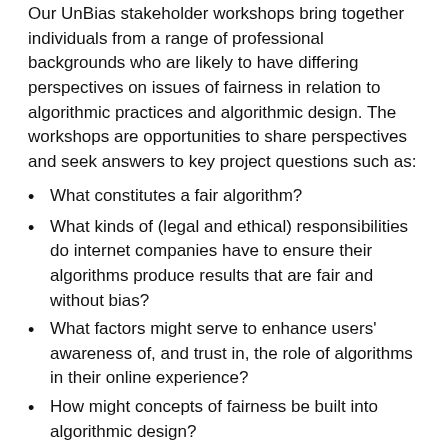Our UnBias stakeholder workshops bring together individuals from a range of professional backgrounds who are likely to have differing perspectives on issues of fairness in relation to algorithmic practices and algorithmic design. The workshops are opportunities to share perspectives and seek answers to key project questions such as:
What constitutes a fair algorithm?
What kinds of (legal and ethical) responsibilities do internet companies have to ensure their algorithms produce results that are fair and without bias?
What factors might serve to enhance users' awareness of, and trust in, the role of algorithms in their online experience?
How might concepts of fairness be built into algorithmic design?
The workshop discussions will be summarised in written reports and will be used to inform other activities in the